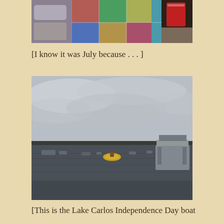[Figure (photo): Close-up of a colorful plaid/patchwork blanket or towel on what appears to be a boat seat, with a red cup visible in the background]
[I know it was July because . . . ]
[Figure (photo): A wide lake scene under overcast skies with several boats on the water including a small yellow boat in the center and a larger pontoon boat on the right, with a treeline visible on the horizon]
[This is the Lake Carlos Independence Day boat